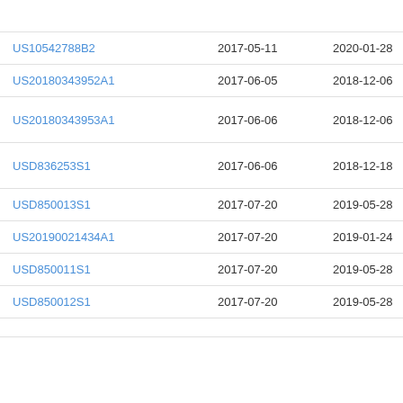| Patent Number | Filing Date | Publication Date | Assignee |
| --- | --- | --- | --- |
| US10542788B2 | 2017-05-11 | 2020-01-28 | Saf… |
| US20180343952A1 | 2017-06-05 | 2018-12-06 | He… |
| US20180343953A1 | 2017-06-06 | 2018-12-06 | Kra… Cor… |
| USD836253S1 | 2017-06-06 | 2018-12-18 | Kra… Cor… |
| USD850013S1 | 2017-07-20 | 2019-05-28 | Rid… |
| US20190021434A1 | 2017-07-20 | 2019-01-24 | Rya… |
| USD850011S1 | 2017-07-20 | 2019-05-28 | Rid… |
| USD850012S1 | 2017-07-20 | 2019-05-28 | Rid… |